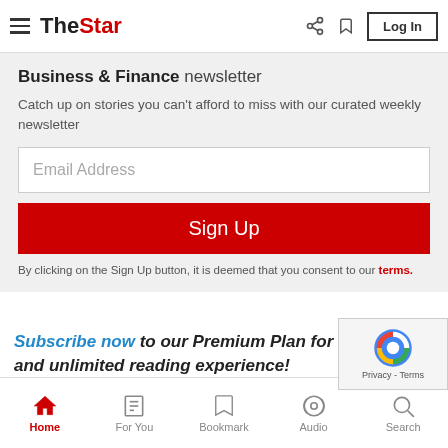The Star — Log In
Business & Finance newsletter
Catch up on stories you can't afford to miss with our curated weekly newsletter
Email Address
Sign Up
By clicking on the Sign Up button, it is deemed that you consent to our terms.
Subscribe now to our Premium Plan for an ad-free and unlimited reading experience!
TOPIC:
Home | For You | Bookmark | Audio | Search